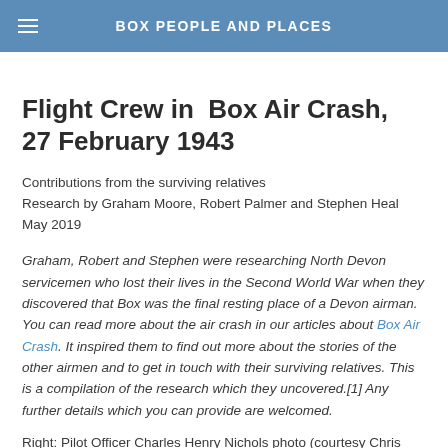BOX PEOPLE AND PLACES
Flight Crew in  Box Air Crash, 27 February 1943
Contributions from the surviving relatives
Research by Graham Moore, Robert Palmer and Stephen Heal
May 2019
Graham, Robert and Stephen were researching North Devon servicemen who lost their lives in the Second World War when they discovered that Box was the final resting place of a Devon airman. You can read more about the air crash in our articles about Box Air Crash. It inspired them to find out more about the stories of the other airmen and to get in touch with their surviving relatives. This is a compilation of the research which they uncovered.[1] Any further details which you can provide are welcomed.
Right: Pilot Officer Charles Henry Nichols photo (courtesy Chris